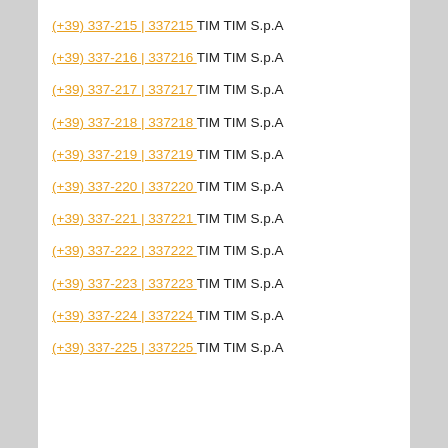(+39) 337-215 | 337215 TIM TIM S.p.A
(+39) 337-216 | 337216 TIM TIM S.p.A
(+39) 337-217 | 337217 TIM TIM S.p.A
(+39) 337-218 | 337218 TIM TIM S.p.A
(+39) 337-219 | 337219 TIM TIM S.p.A
(+39) 337-220 | 337220 TIM TIM S.p.A
(+39) 337-221 | 337221 TIM TIM S.p.A
(+39) 337-222 | 337222 TIM TIM S.p.A
(+39) 337-223 | 337223 TIM TIM S.p.A
(+39) 337-224 | 337224 TIM TIM S.p.A
(+39) 337-225 | 337225 TIM TIM S.p.A